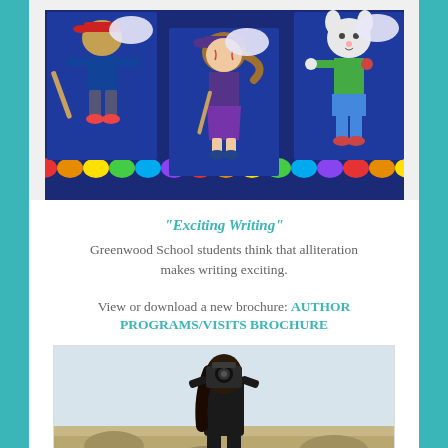[Figure (photo): Children's artwork displayed on blue paper showing cartoon characters including baseball players and other figures, mounted on a bulletin board with colorful scalloped border]
“Exciting Writing”
Greenwood School students think that alliteration makes writing exciting.
View or download a new brochure: AUTHOR PROGRAMS/VISITS BROCHURE
[Figure (photo): Person holding a camera up to their face, photographing outdoors in a desert/rocky landscape setting]